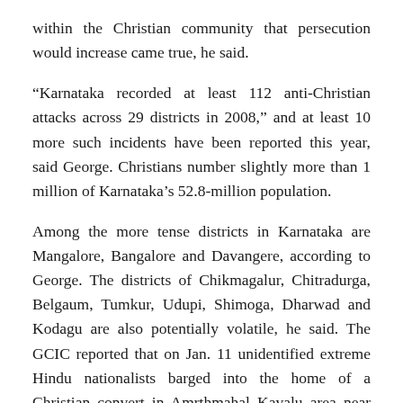within the Christian community that persecution would increase came true, he said.
“Karnataka recorded at least 112 anti-Christian attacks across 29 districts in 2008,” and at least 10 more such incidents have been reported this year, said George. Christians number slightly more than 1 million of Karnataka’s 52.8-million population.
Among the more tense districts in Karnataka are Mangalore, Bangalore and Davangere, according to George. The districts of Chikmagalur, Chitradurga, Belgaum, Tumkur, Udupi, Shimoga, Dharwad and Kodagu are also potentially volatile, he said. The GCIC reported that on Jan. 11 unidentified extreme Hindu nationalists barged into the home of a Christian convert in Amrthmahal Kavalu area near Tiptur town in Karnataka’s Tumkur district, verbally abused the four Christians there and burned their Bibles. The nine hard-line Hindus threatened to